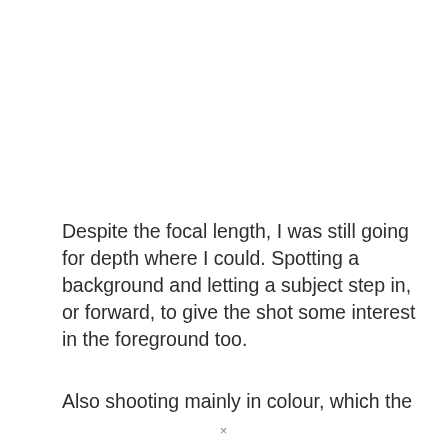Despite the focal length, I was still going for depth where I could. Spotting a background and letting a subject step in, or forward, to give the shot some interest in the foreground too.
Also shooting mainly in colour, which the
×